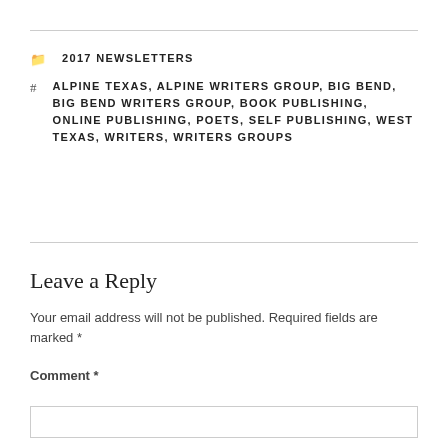2017 NEWSLETTERS
ALPINE TEXAS, ALPINE WRITERS GROUP, BIG BEND, BIG BEND WRITERS GROUP, BOOK PUBLISHING, ONLINE PUBLISHING, POETS, SELF PUBLISHING, WEST TEXAS, WRITERS, WRITERS GROUPS
Leave a Reply
Your email address will not be published. Required fields are marked *
Comment *